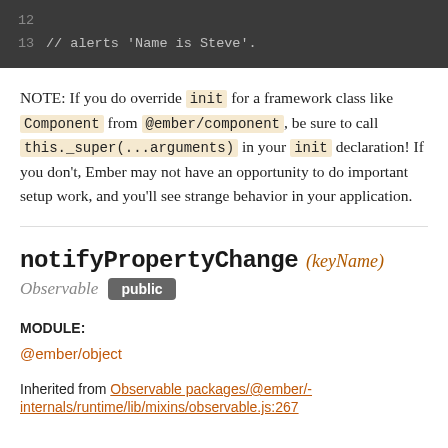[Figure (screenshot): Dark code block showing line numbers 12 and 13 with comment '// alerts Name is Steve'.]
NOTE: If you do override init for a framework class like Component from @ember/component, be sure to call this._super(...arguments) in your init declaration! If you don't, Ember may not have an opportunity to do important setup work, and you'll see strange behavior in your application.
notifyPropertyChange (keyName) Observable public
MODULE:
@ember/object
Inherited from Observable packages/@ember/-internals/runtime/lib/mixins/observable.js:267